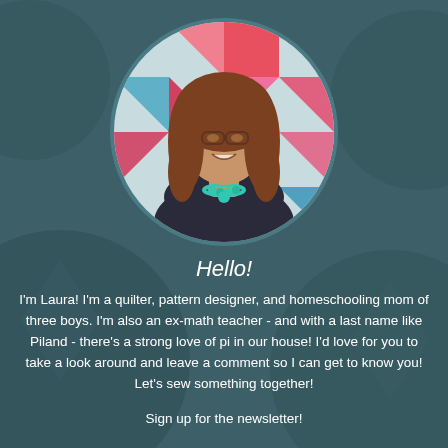[Figure (photo): Circular cropped portrait photo of a woman with long wavy auburn hair, wearing glasses, a dark top, and a turquoise beaded necklace, in front of a colorful geometric quilt background.]
Hello!
I'm Laura! I'm a quilter, pattern designer, and homeschooling mom of three boys. I'm also an ex-math teacher - and with a last name like Piland - there's a strong love of pi in our house! I'd love for you to take a look around and leave a comment so I can get to know you! Let's sew something together!
Sign up for the newsletter!
Join the Quilting Deals group!
Powered by Blogger.